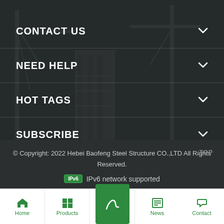CONTACT US
NEED HELP
HOT TAGS
SUBSCRIBE
© Copyright: 2022 Hebei Baofeng Steel Structure CO.,LTD All Rights Reserved.
IPv6 network supported
TOP
Home | Products | News | Contact